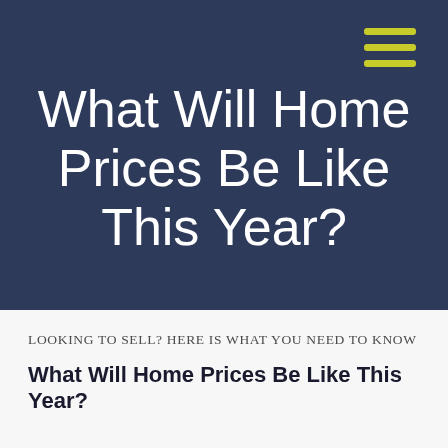[Figure (other): Dark navy blue header banner with hamburger menu icon (three yellow-green horizontal lines) in the top right corner]
What Will Home Prices Be Like This Year?
LOOKING TO SELL? HERE IS WHAT YOU NEED TO KNOW
What Will Home Prices Be Like This Year?